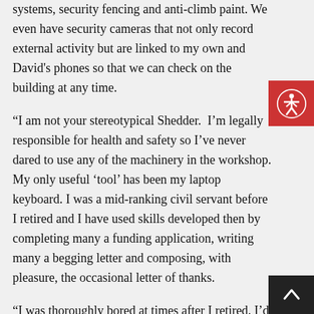systems, security fencing and anti-climb paint. We even have security cameras that not only record external activity but are linked to my own and David's phones so that we can check on the building at any time.
“I am not your stereotypical Shedder.  I’m legally responsible for health and safety so I’ve never dared to use any of the machinery in the workshop. My only useful ‘tool’ has been my laptop keyboard. I was a mid-ranking civil servant before I retired and I have used skills developed then by completing many a funding application, writing many a begging letter and composing, with pleasure, the occasional letter of thanks.
“I was thoroughly bored at times after I retired. I’d suffered, as many retirees do, a huge loss of